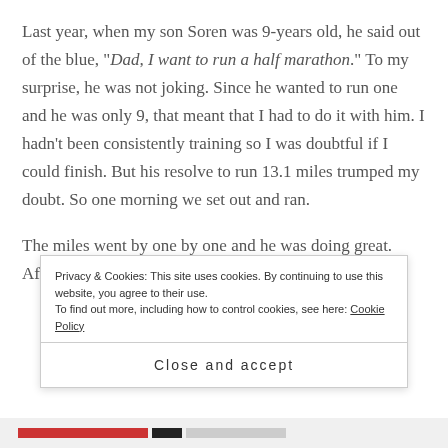Last year, when my son Soren was 9-years old, he said out of the blue, "Dad, I want to run a half marathon." To my surprise, he was not joking. Since he wanted to run one and he was only 9, that meant that I had to do it with him. I hadn't been consistently training so I was doubtful if I could finish. But his resolve to run 13.1 miles trumped my doubt. So one morning we set out and ran.

The miles went by one by one and he was doing great. After about mile 7, I continued to compliment him. I
Privacy & Cookies: This site uses cookies. By continuing to use this website, you agree to their use.
To find out more, including how to control cookies, see here: Cookie Policy
Close and accept